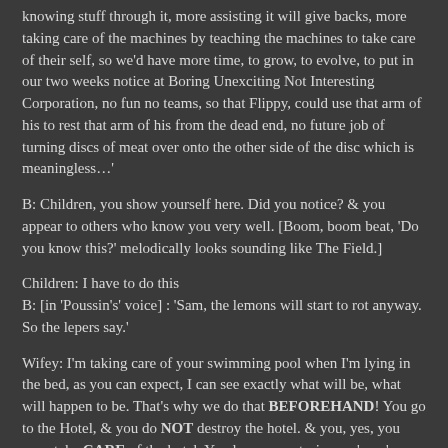knowing stuff through it, more assisting it will give backs, more taking care of the machines by teaching the machines to take care of their self, so we'd have more time, to grow, to evolve, to put in our two weeks notice at Boring Unexciting Not Interesting Corporation, no fun no teams, so that Flippy, could use that arm of his to rest that arm of his from the dead end, no future job of turning discs of meat over onto the other side of the disc which is meaningless…'
B: Children, you show yourself here. Did you notice? & you appear to others who know you very well. [Boom, boom beat, 'Do you know this?' melodically looks sounding like The Field.]
Children: I have to do this
B: [in 'Poussin's' voice] : 'Sam, the lemons will start to rot anyway. So the lepers say.'
Wifey: I'm taking care of your swimming pool when I'm lying in the bed, as you can expect, I can see exactly what will be, what will happen to be. That's why we do that BEFOREHAND! You go to the Hotel, & you do NOT destroy the hotel. & you, yes, you even take CARE of the hotel. You love your stories cuz' you're